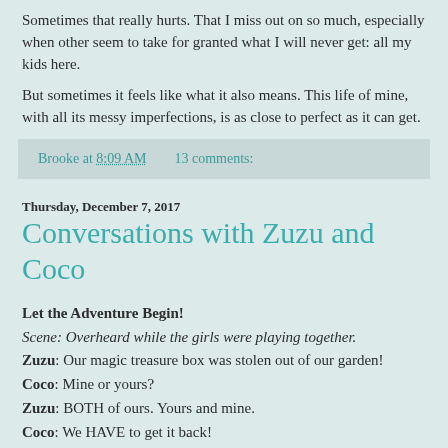Sometimes that really hurts. That I miss out on so much, especially when other seem to take for granted what I will never get: all my kids here.
But sometimes it feels like what it also means. This life of mine, with all its messy imperfections, is as close to perfect as it can get.
Brooke at 8:09 AM    13 comments:
Thursday, December 7, 2017
Conversations with Zuzu and Coco
Let the Adventure Begin!
Scene: Overheard while the girls were playing together.
Zuzu: Our magic treasure box was stolen out of our garden!
Coco: Mine or yours?
Zuzu: BOTH of ours. Yours and mine.
Coco: We HAVE to get it back!
Zuzu: And the way we get it back is... we become unicorns.